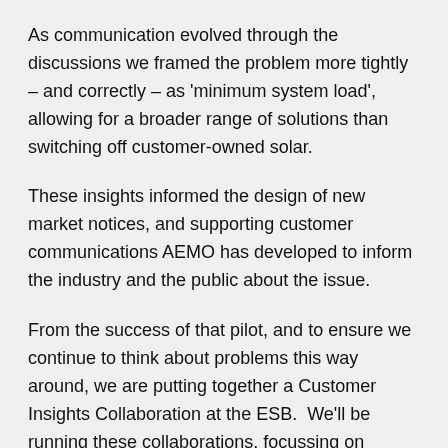As communication evolved through the discussions we framed the problem more tightly – and correctly – as 'minimum system load', allowing for a broader range of solutions than switching off customer-owned solar.
These insights informed the design of new market notices, and supporting customer communications AEMO has developed to inform the industry and the public about the issue.
From the success of that pilot, and to ensure we continue to think about problems this way around, we are putting together a Customer Insights Collaboration at the ESB.  We'll be running these collaborations, focussing on particular issues, in six month releases to generate insights from the customer's perspective.  We'll be producing knowledge-sharing reports which we can make available to the various